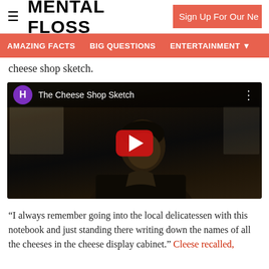≡ MENTAL FLOSS | Sign Up For Our Ne
AMAZING FACTS   BIG QUESTIONS   ENTERTAINMENT ▼
cheese shop sketch.
[Figure (screenshot): Embedded YouTube video player showing 'The Cheese Shop Sketch' with a purple H channel icon, YouTube play button overlay, and a dark scene with a man looking down.]
“I always remember going into the local delicatessen with this notebook and just standing there writing down the names of all the cheeses in the cheese display cabinet.” Cleese recalled,